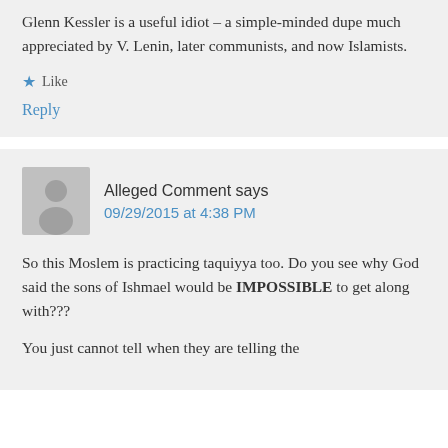Glenn Kessler is a useful idiot – a simple-minded dupe much appreciated by V. Lenin, later communists, and now Islamists.
★  Like
Reply
Alleged Comment says
09/29/2015 at 4:38 PM
So this Moslem is practicing taquiyya too. Do you see why God said the sons of Ishmael would be IMPOSSIBLE to get along with???
You just cannot tell when they are telling the